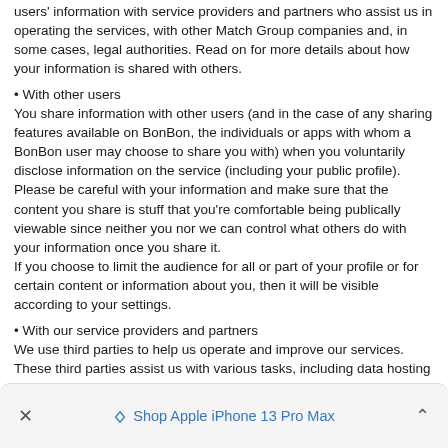users' information with service providers and partners who assist us in operating the services, with other Match Group companies and, in some cases, legal authorities. Read on for more details about how your information is shared with others.
• With other users
You share information with other users (and in the case of any sharing features available on BonBon, the individuals or apps with whom a BonBon user may choose to share you with) when you voluntarily disclose information on the service (including your public profile). Please be careful with your information and make sure that the content you share is stuff that you're comfortable being publically viewable since neither you nor we can control what others do with your information once you share it.
If you choose to limit the audience for all or part of your profile or for certain content or information about you, then it will be visible according to your settings.
• With our service providers and partners
We use third parties to help us operate and improve our services. These third parties assist us with various tasks, including data hosting and maintenance, analytics, customer care, marketing, advertising, payment processing and security operations.
We may also share information with partners who distribute and assist us in advertising our services. For instance, we may share limited information on you in hashed, non-human readable form to advertising partners.
Shop Apple iPhone 13 Pro Max